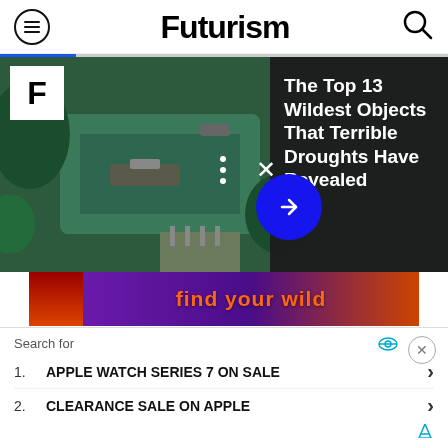Futurism
[Figure (screenshot): Aerial drone view of boats on a river/waterway with green forested banks, overlaid with video player controls (F logo, dots menu, close X button, blue arrow button, progress bar). Dark panel on right shows article title: The Top 13 Wildest Objects That Terrible Droughts Have Revealed]
[Figure (photo): Advertisement banner: Find your Wild with orange text on purple/orange gradient background with mushroom/nature imagery]
Cons:
Bulky design for some people
[Figure (other): Red circular podcast/audio play button icon]
The S... d for your... so has p... it use of your device's features. It has a matte finish...
[Figure (screenshot): Search advertisement overlay showing: Search for / 1. APPLE WATCH SERIES 7 ON SALE / 2. CLEARANCE SALE ON APPLE with close button]